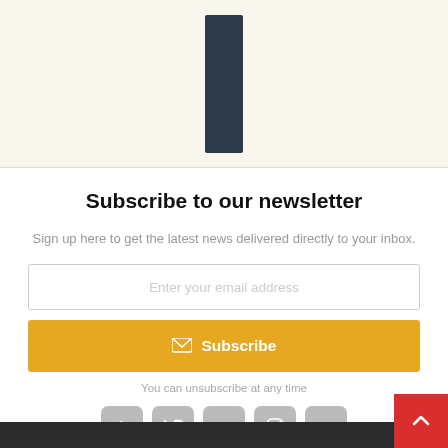[Figure (illustration): Dark navy/slate blue vertical bar graphic centered on a cream/off-white background]
Subscribe to our newsletter
Sign up here to get the latest news delivered directly to your inbox.
Enter your email address
Subscribe
You can unsubscribe at any time
[Figure (illustration): Social media icons: Facebook, Twitter, YouTube, Instagram, LinkedIn — all in grey rounded square buttons]